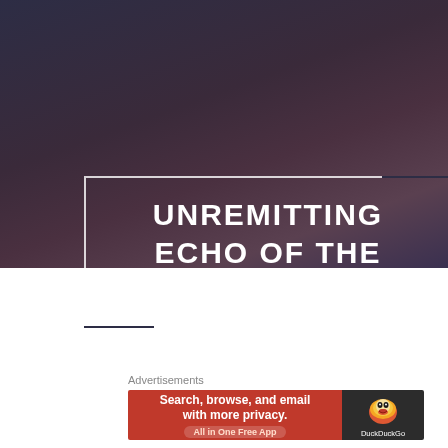[Figure (screenshot): Dark purple-toned background with a bokeh/atmospheric mood]
UNREMITTING ECHO OF THE OVERSOUL
[Figure (screenshot): YouTube-style video player showing 'Dance of Life • Relaxing Fantasy ...' by a bird channel logo, with a nature/forest face thumbnail and a play button]
Advertisements
[Figure (screenshot): DuckDuckGo advertisement banner: 'Search, browse, and email with more privacy. All in One Free App' on red background with DuckDuckGo duck logo on dark background]